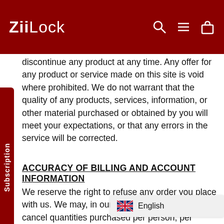ZiiLock
discontinue any product at any time. Any offer for any product or service made on this site is void where prohibited. We do not warrant that the quality of any products, services, information, or other material purchased or obtained by you will meet your expectations, or that any errors in the service will be corrected.
ACCURACY OF BILLING AND ACCOUNT INFORMATION
We reserve the right to refuse any order you place with us. We may, in our sole discretion, limit or cancel quantities purchased per person, per household or per order. These restrictions may include orders placed by or under the same customer account, the same credit card, and/or orders that use the same billing and/or shipping address. In the event that we make a change to or cancel an order, we may attempt to notify you by contacting the e mail and/or billing address/phone number provided at the time the order was made. We reserve the right to limit our sole judgment, appear to be p or distributors.